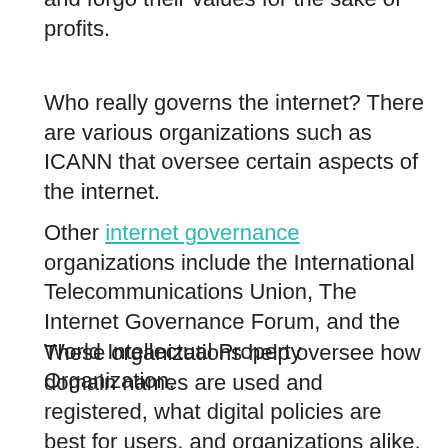and forgo their values for the sake of profits.
Who really governs the internet? There are various organizations such as ICANN that oversee certain aspects of the internet.
Other internet governance organizations include the International Telecommunications Union, The Internet Governance Forum, and the World Intellectual Property Organization.
These organizations help oversee how domain names are used and registered, what digital policies are best for users, and organizations alike.